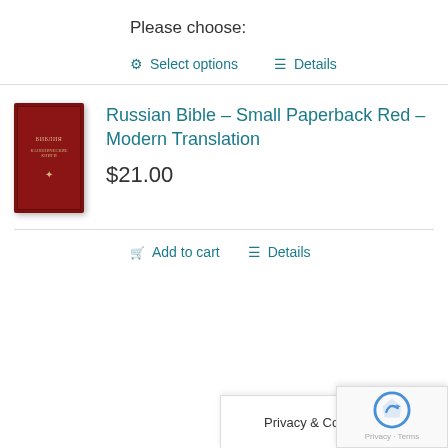Please choose:
Select options
Details
[Figure (photo): Red paperback Bible book cover with Cyrillic text]
Russian Bible – Small Paperback Red – Modern Translation
$21.00
Add to cart
Details
Privacy & Cookies Policy